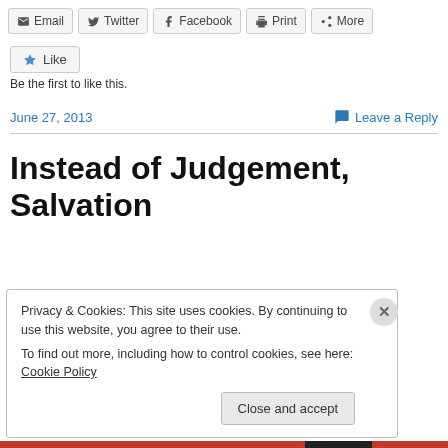Email | Twitter | Facebook | Print | More
Like
Be the first to like this.
June 27, 2013   Leave a Reply
Instead of Judgement, Salvation
Privacy & Cookies: This site uses cookies. By continuing to use this website, you agree to their use.
To find out more, including how to control cookies, see here: Cookie Policy
Close and accept